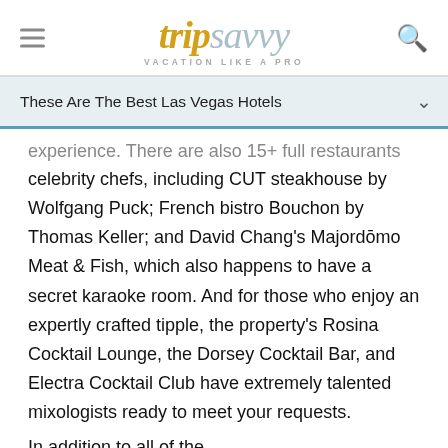tripsavvy VACATION LIKE A PRO
These Are The Best Las Vegas Hotels
experience. There are also 15+ full restaurants run by celebrity chefs, including CUT steakhouse by Wolfgang Puck; French bistro Bouchon by Thomas Keller; and David Chang's Majordōmo Meat & Fish, which also happens to have a secret karaoke room. And for those who enjoy an expertly crafted tipple, the property's Rosina Cocktail Lounge, the Dorsey Cocktail Bar, and Electra Cocktail Club have extremely talented mixologists ready to meet your requests.
In addition to all of the...